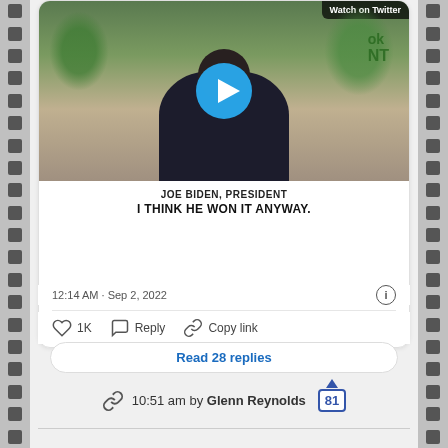[Figure (screenshot): Screenshot of a tweet showing a video embed with Joe Biden, President. Video has play button. Caption reads: JOE BIDEN, PRESIDENT / I THINK HE WON IT ANYWAY.]
12:14 AM · Sep 2, 2022
1K   Reply   Copy link
Read 28 replies
10:51 am by Glenn Reynolds  81